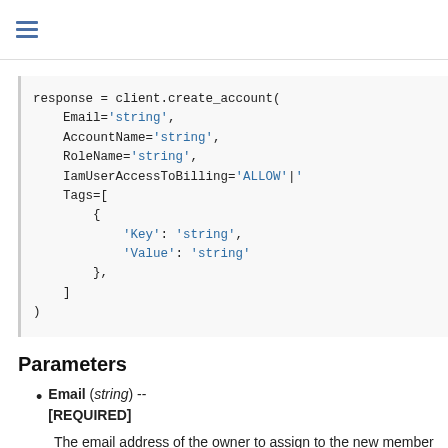≡
response = client.create_account(
    Email='string',
    AccountName='string',
    RoleName='string',
    IamUserAccessToBilling='ALLOW'|'D
    Tags=[
        {
            'Key': 'string',
            'Value': 'string'
        },
    ]
)
Parameters
Email (string) -- [REQUIRED]
The email address of the owner to assign to the new member account.